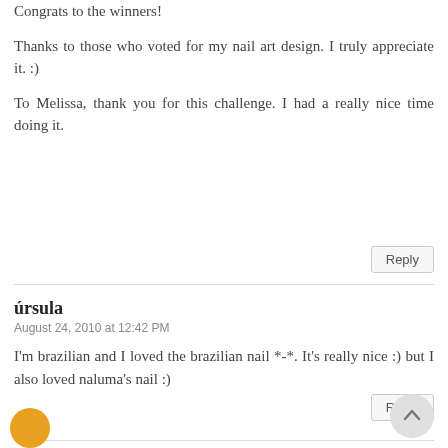Congrats to the winners!
Thanks to those who voted for my nail art design. I truly appreciate it. :)
To Melissa, thank you for this challenge. I had a really nice time doing it.
Reply
úrsula
August 24, 2010 at 12:42 PM
I'm brazilian and I loved the brazilian nail *-*. It's really nice :) but I also loved naluma's nail :)
Reply